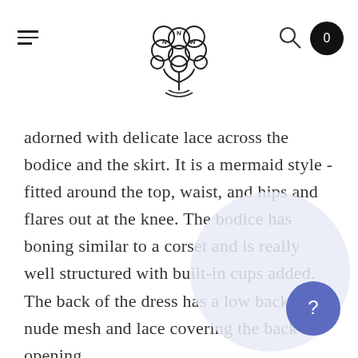NNW logo with hamburger menu, search icon, and cart (0)
adorned with delicate lace across the bodice and the skirt. It is a mermaid style - fitted around the top, waist, and hips and flares out at the knee. The bodice has boning similar to a corset and is really well structured with built-in cups added. The back of the dress has a low back with nude mesh and lace covering the back opening.
The dress has a long train and has a matching veil (INCLUDED) with matching embroidery/lace to the dress. The dress has